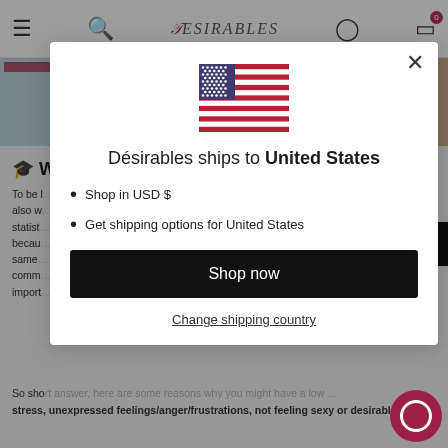[Figure (screenshot): Desirables e-commerce website background with navigation bar, product images strip, and partially visible blog text about libido/wellness]
[Figure (infographic): Modal popup dialog showing US flag icon, shipping notice, bullet list, Shop now button, and Change shipping country link]
Désirables ships to United States
Shop in USD $
Get shipping options for United States
Shop now
Change shipping country